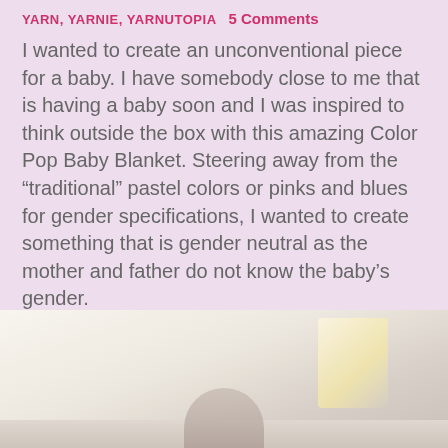yarn, yarnie, yarnutopia  5 Comments
I wanted to create an unconventional piece for a baby. I have somebody close to me that is having a baby soon and I was inspired to think outside the box with this amazing Color Pop Baby Blanket. Steering away from the “traditional” pastel colors or pinks and blues for gender specifications, I wanted to create something that is gender neutral as the mother and father do not know the baby’s gender.
Using that inspiration and that element of surprise, I wanted to make something that just WOW’s the nursery and the arrival of this new baby. This amazing piece started to form from a small creative idea that I had.
[Figure (photo): A soft, light-toned photograph showing what appears to be a baby blanket or nursery item on a surface, with warm ambient lighting and a lamp or light source visible in the background.]